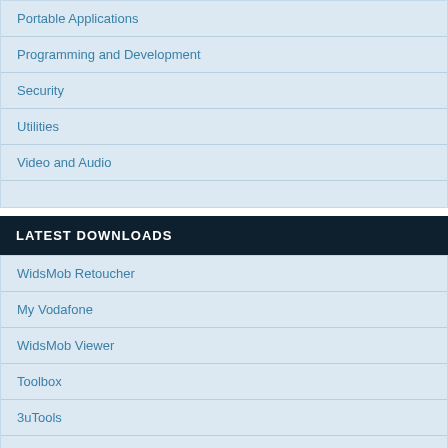Portable Applications
Programming and Development
Security
Utilities
Video and Audio
LATEST DOWNLOADS
WidsMob Retoucher
My Vodafone
WidsMob Viewer
Toolbox
3uTools
Apeaksoft Video Converter Ultimate
Metamill
WidsMob Portrait
Christmas Elf